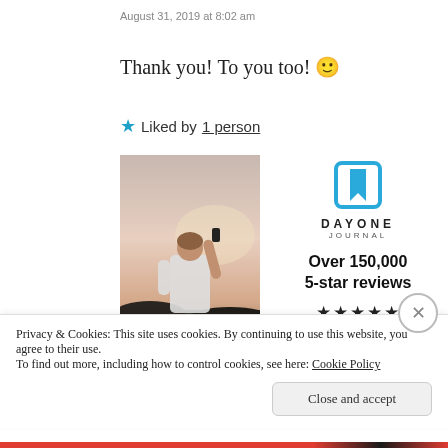August 31, 2019 at 8:02 am
Thank you! To you too! 🙂
★ Liked by 1 person
[Figure (photo): Person from behind holding a phone against a sunset sky, wearing a white t-shirt, standing on rocks]
[Figure (logo): Day One Journal app logo and advertisement: bookmark icon, DAYONE JOURNAL text, Over 150,000 5-star reviews, five stars, Get the app button]
Privacy & Cookies: This site uses cookies. By continuing to use this website, you agree to their use.
To find out more, including how to control cookies, see here: Cookie Policy
Close and accept